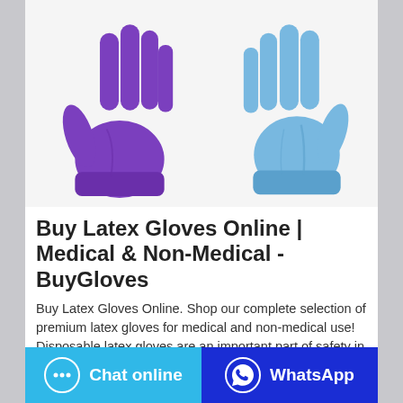[Figure (photo): Two disposable latex gloves: one purple glove on the left and one light blue glove on the right, both shown palm-facing with fingers extended upward against a white background.]
Buy Latex Gloves Online | Medical & Non-Medical - BuyGloves
Buy Latex Gloves Online. Shop our complete selection of premium latex gloves for medical and non-medical use! Disposable latex gloves are an important part of safety in
Chat online | WhatsApp